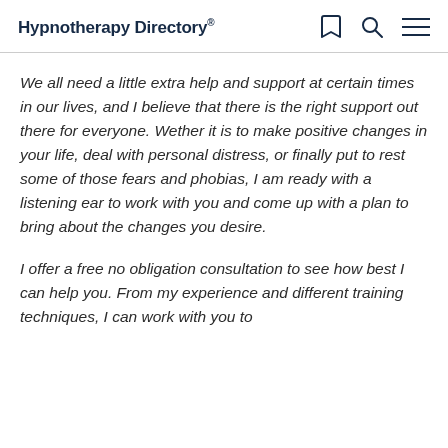Hypnotherapy Directory
We all need a little extra help and support at certain times in our lives, and I believe that there is the right support out there for everyone. Wether it is to make positive changes in your life, deal with personal distress, or finally put to rest some of those fears and phobias, I am ready with a listening ear to work with you and come up with a plan to bring about the changes you desire.
I offer a free no obligation consultation to see how best I can help you. From my experience and different training techniques, I can work with you to...